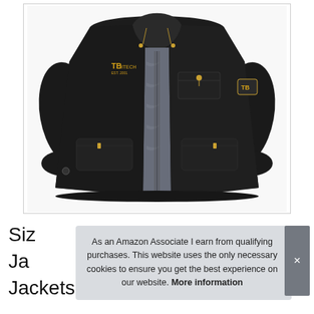[Figure (photo): Product photo of a black men's winter jacket with yellow brand logo (TB/JIJTECH) on chest and arm patch, fleece-lined interior visible, open zipper showing grey lining, multiple pockets with yellow zipper pulls, displayed on white background]
As an Amazon Associate I earn from qualifying purchases. This website uses the only necessary cookies to ensure you get the best experience on our website. More information
Siz
Ja
Jackets, Black